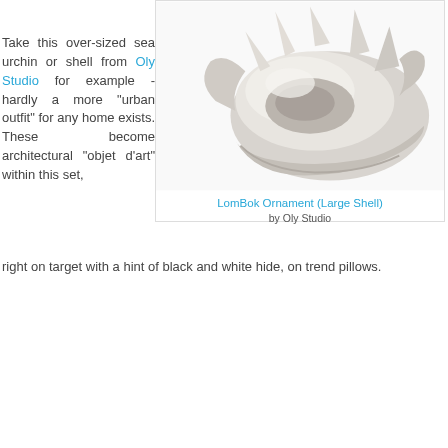Take this over-sized sea urchin or shell from Oly Studio for example - hardly a more "urban outfit" for any home exists. These become architectural "objet d'art" within this set, right on target with a hint of black and white hide, on trend pillows.
[Figure (photo): Large white decorative shell ornament (LomBok Ornament Large Shell) photographed against white background, showing a sculptural sea shell with spiky protrusions and textured surface.]
LomBok Ornament (Large Shell) by Oly Studio